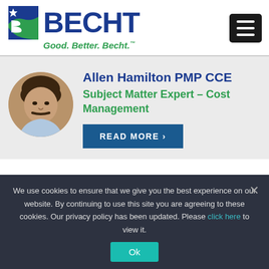[Figure (logo): Becht logo with blue B icon and 'BECHT' text, tagline 'Good. Better. Becht.']
[Figure (photo): Circular headshot of Allen Hamilton, a man with dark hair and mustache wearing a light blue shirt]
Allen Hamilton PMP CCE
Subject Matter Expert - Cost Management
READ MORE >
We use cookies to ensure that we give you the best experience on our website. By continuing to use this site you are agreeing to these cookies. Our privacy policy has been updated. Please click here to view it.
Ok